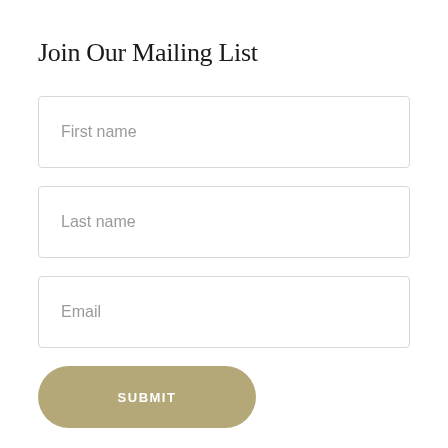Join Our Mailing List
First name
Last name
Email
SUBMIT